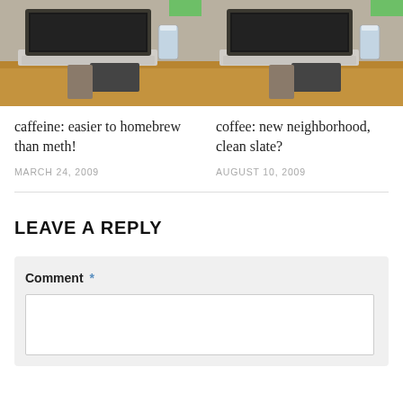[Figure (photo): Two laptop blog post thumbnail images side by side with green badges in top-right corners. Shows a laptop on a wooden desk with a glass of water and phone.]
caffeine: easier to homebrew than meth!
MARCH 24, 2009
coffee: new neighborhood, clean slate?
AUGUST 10, 2009
LEAVE A REPLY
Comment *